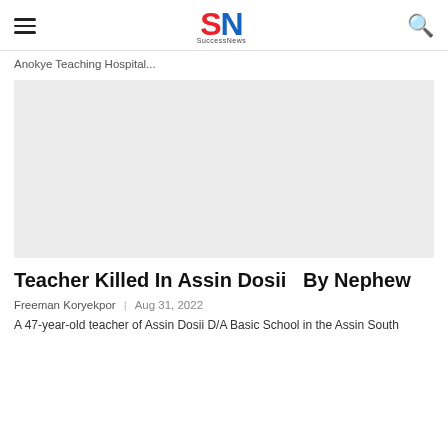SN (SuccessNews logo)
Anokye Teaching Hospital...
[Figure (photo): Gray placeholder image for article photo]
Teacher Killed In Assin Dosii  By Nephew
Freeman Koryekpor   Aug 31, 2022
A 47-year-old teacher of Assin Dosii D/A Basic School in the Assin South